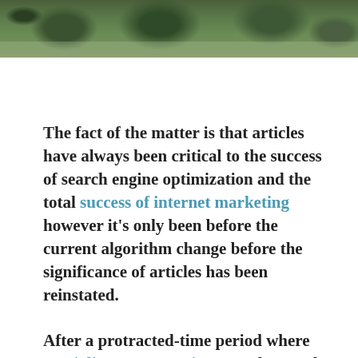[Figure (photo): Outdoor photo showing trees and a structure, cropped to show top portion with green foliage against sky]
The fact of the matter is that articles have always been critical to the success of search engine optimization and the total success of internet marketing however it's only been before the current algorithm change before the significance of articles has been reinstated.
After a protracted-time period where specialist SEO agencies geared toward con' that the Google bots with hordes of premium excellent content made only for link construction functions a greatly powerful move has been executed. Firms have been cautioned,